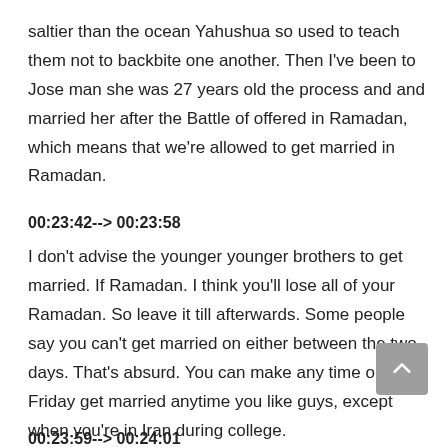saltier than the ocean Yahushua so used to teach them not to backbite one another. Then I've been to Jose man she was 27 years old the process and and married her after the Battle of offered in Ramadan, which means that we're allowed to get married in Ramadan.
00:23:42--> 00:23:58
I don't advise the younger younger brothers to get married. If Ramadan. I think you'll lose all of your Ramadan. So leave it till afterwards. Some people say you can't get married on either between the two days. That's absurd. You can make any time or on a Friday get married anytime you like guys, except when you're in Iran during college.
00:23:59--> 00:24:01